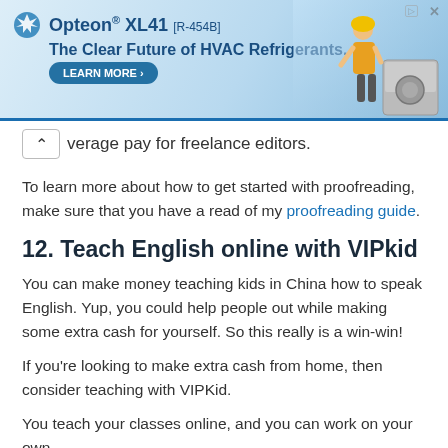[Figure (other): Advertisement banner for Opteon XL41 (R-454B) HVAC refrigerant with tagline 'The Clear Future of HVAC Refrigerants.' and a Learn More button, with illustrated HVAC technician and equipment]
verage pay for freelance editors.
To learn more about how to get started with proofreading, make sure that you have a read of my proofreading guide.
12. Teach English online with VIPkid
You can make money teaching kids in China how to speak English. Yup, you could help people out while making some extra cash for yourself. So this really is a win-win!
If you're looking to make extra cash from home, then consider teaching with VIPKid.
You teach your classes online, and you can work on your own